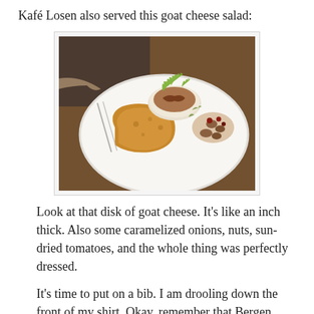Kafé Losen also served this goat cheese salad:
[Figure (photo): A white plate with a goat cheese salad featuring a thick disk of goat cheese topped with caramelized onions and microgreens, accompanied by bread and mixed nuts with sun-dried tomatoes on a wooden table.]
Look at that disk of goat cheese. It's like an inch thick. Also some caramelized onions, nuts, sun-dried tomatoes, and the whole thing was perfectly dressed.
It's time to put on a bib. I am drooling down the front of my shirt. Okay, remember that Bergen fish soup I mentioned, at the Mount Ulriken restaurant? At the same place I had this lamb sausage with associated goodies: